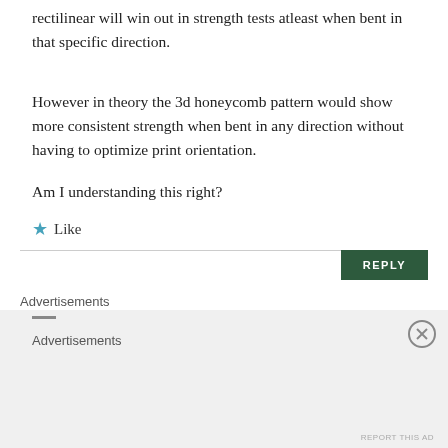rectilinear will win out in strength tests atleast when bent in that specific direction.
However in theory the 3d honeycomb pattern would show more consistent strength when bent in any direction without having to optimize print orientation.
Am I understanding this right?
★ Like
REPLY
Advertisements
Need a website quickly – and on a budget?
REPORT THIS AD
Advertisements
REPORT THIS AD